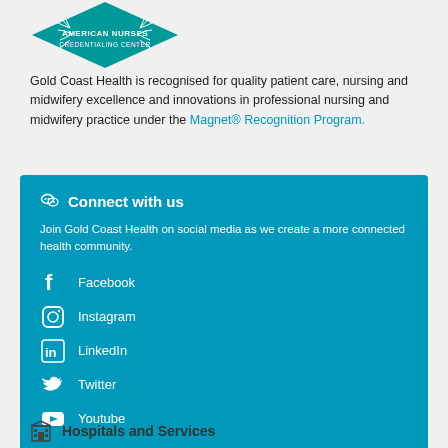[Figure (logo): American Nurses Credentialing Center logo — teal diamond/shield shape with wheat/laurel branches and text 'AMERICAN NURSES CREDENTIALING CENTER']
Gold Coast Health is recognised for quality patient care, nursing and midwifery excellence and innovations in professional nursing and midwifery practice under the Magnet® Recognition Program.
Connect with us
Join Gold Coast Health on social media as we create a more connected health community.
Facebook
Instagram
LinkedIn
Twitter
Youtube
Hospitals and Services